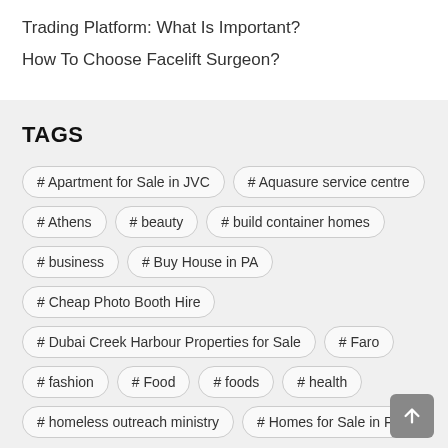Trading Platform: What Is Important?
How To Choose Facelift Surgeon?
TAGS
# Apartment for Sale in JVC
# Aquasure service centre
# Athens
# beauty
# build container homes
# business
# Buy House in PA
# Cheap Photo Booth Hire
# Dubai Creek Harbour Properties for Sale
# Faro
# fashion
# Food
# foods
# health
# homeless outreach ministry
# Homes for Sale in PA